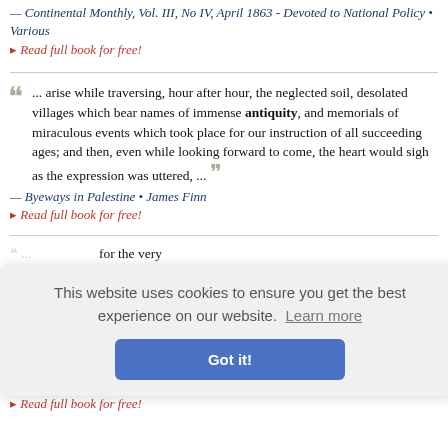— Continental Monthly, Vol. III, No IV, April 1863 - Devoted to National Policy • Various
▸ Read full book for free!
"... arise while traversing, hour after hour, the neglected soil, desolated villages which bear names of immense antiquity, and memorials of miraculous events which took place for our instruction of all succeeding ages; and then, even while looking forward to come, the heart would sigh as the expression was uttered, ..."
— Byeways in Palestine • James Finn
▸ Read full book for free!
This website uses cookies to ensure you get the best experience on our website. Learn more
Got it!
... for the very ... st I hallowe... he dust an... ntiquity fo... ne and out...
he Shakes
▸ Read full book for free!